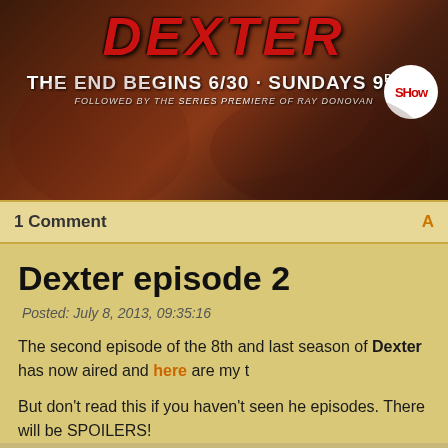[Figure (photo): Dexter TV show promotional banner with red 'DEXTER' title text, tagline 'THE END BEGINS 6/30 · SUNDAYS 9PM' followed by 'FOLLOWED BY THE SERIES PREMIERE OF RAY DONOVAN', Showtime logo, dark reddish-brown background with dramatic imagery]
1 Comment   A
Dexter episode 2
Posted: July 8, 2013, 09:35:16
The second episode of the 8th and last season of Dexter has now aired and here are my t
But don't read this if you haven't seen he episodes. There will be SPOILERS!
[Figure (photo): Close-up photo of a person wrapped in plastic wrap or shrink wrap, dramatic noir style image]